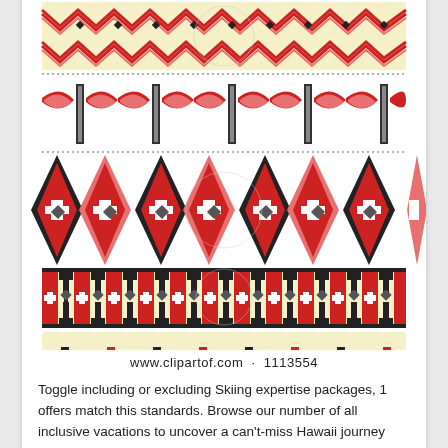[Figure (illustration): Four decorative folk embroidery / textile border patterns stacked vertically. Top pattern: red, pink, black geometric zigzag/diamond pattern on cream background with a small watermark circle. Second pattern: red, pink, black cross-stitch style interlocking ornamental band. Third pattern: red/black/cream geometric diamond weave pattern on cream with watermark. Bottom pattern: red, black floral/star repeat pattern on cream background.]
www.clipartof.com  ·  1113554
Toggle including or excluding Skiing expertise packages, 1 offers match this standards. Browse our number of all inclusive vacations to uncover a can't-miss Hawaii journey package deal or so-luxe European journey. Whether or not you are searching for the ideal family